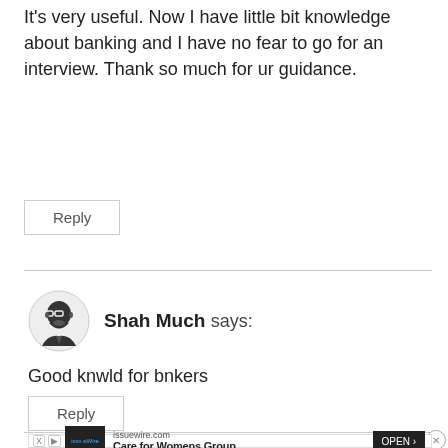It's very useful. Now I have little bit knowledge about banking and I have no fear to go for an interview. Thank so much for ur guidance.
Reply
Shah Much says:
Good knwld for bnkers
Reply
[Figure (infographic): Advertisement banner for issuewire.com: Care for Womens Group with OPEN button]